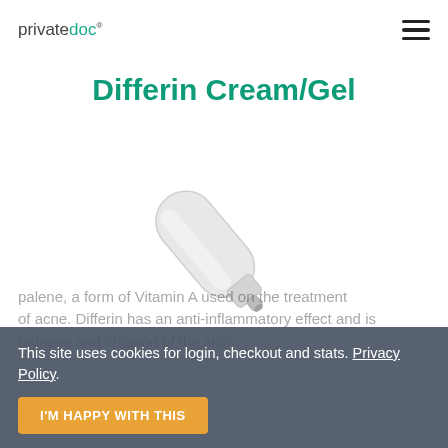privatedoc®
Differin Cream/Gel
[Figure (illustration): A white cosmetic/pharmaceutical tube (cream or gel product) lying at an angle on a white background]
This site uses cookies for login, checkout and stats. Privacy Policy.
I'M HAPPY WITH THIS